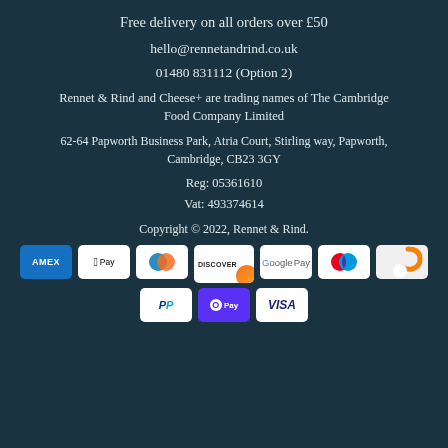Free delivery on all orders over £50
hello@rennetandrind.co.uk
01480 831112 (Option 2)
Rennet & Rind and Cheese+ are trading names of The Cambridge Food Company Limited
62-64 Papworth Business Park, Atria Court, Stirling way, Papworth, Cambridge, CB23 3GY
Reg: 05361610
Vat: 493374614
Copyright © 2022, Rennet & Rind.
[Figure (logo): Payment method icons: AMEX, Apple Pay, Diners Club, Discover, Google Pay, Maestro, Rennet & Rind logo, PayPal, Shop Pay, Visa]